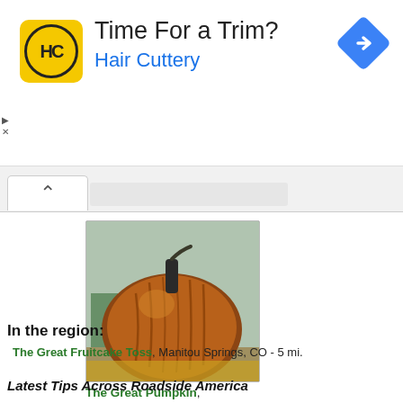[Figure (other): Hair Cuttery advertisement banner with yellow logo, 'Time For a Trim?' heading and blue arrow icon]
[Figure (photo): Photo of The Great Pumpkin, a large decorative pumpkin sculpture in Colorado Springs, CO]
The Great Pumpkin, Colorado Springs, CO - < 1 mi.
In the region:
The Great Fruitcake Toss, Manitou Springs, CO - 5 mi.
Latest Tips Across Roadside America